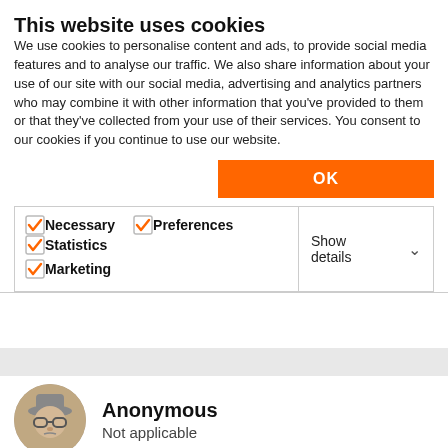This website uses cookies
We use cookies to personalise content and ads, to provide social media features and to analyse our traffic. We also share information about your use of our site with our social media, advertising and analytics partners who may combine it with other information that you've provided to them or that they've collected from your use of their services. You consent to our cookies if you continue to use our website.
OK
Necessary  Preferences  Statistics  Marketing  Show details
Anonymous
Not applicable
2006-07-26 09:56 AM
I think the problem is the fact that I am using one of the two workstation as a Server also. As the result the paths to the libraries have to be reset on each computer each time AC is